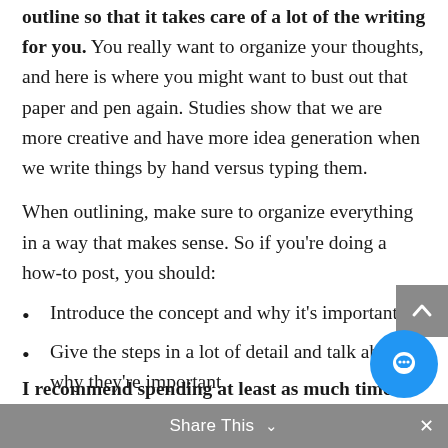outline so that it takes care of a lot of the writing for you. You really want to organize your thoughts, and here is where you might want to bust out that paper and pen again. Studies show that we are more creative and have more idea generation when we write things by hand versus typing them.
When outlining, make sure to organize everything in a way that makes sense. So if you're doing a how-to post, you should:
Introduce the concept and why it's important
Give the steps in a lot of detail and talk about why they're important
Summarize all your steps with your call to action
I recommend spending at least as much time
Share This ∨  ×